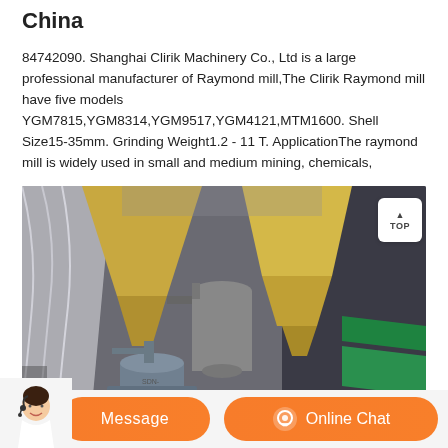China
84742090. Shanghai Clirik Machinery Co., Ltd is a large professional manufacturer of Raymond mill,The Clirik Raymond mill have five models YGM7815,YGM8314,YGM9517,YGM4121,MTM1600. Shell Size15-35mm. Grinding Weight1.2 - 11 T. ApplicationThe raymond mill is widely used in small and medium mining, chemicals,
[Figure (photo): Industrial Raymond mill machinery photograph showing large conical cyclone separators and grinding mill equipment in an outdoor/indoor industrial setting]
Message
Online Chat